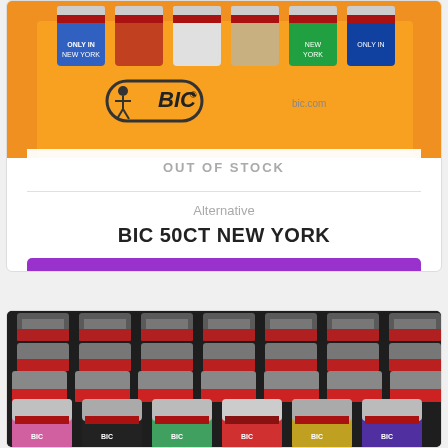[Figure (photo): BIC lighters display box in orange with 'ONLY IN NEW YORK' lighters visible, BIC logo and bic.com text, OUT OF STOCK overlay]
OUT OF STOCK
Alternative
BIC 50CT NEW YORK
READ MORE
[Figure (photo): Large quantity of BIC lighters with red flint wheels and colorful bodies arranged in rows, BIC logo visible on lighters]